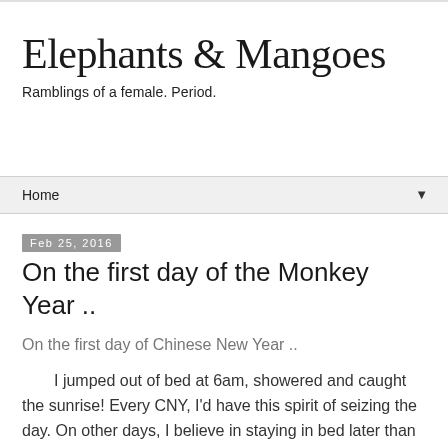Elephants & Mangoes
Ramblings of a female. Period.
Home ▼
Feb 25, 2016
On the first day of the Monkey Year ..
On the first day of Chinese New Year ..
I jumped out of bed at 6am, showered and caught the sunrise! Every CNY, I'd have this spirit of seizing the day. On other days, I believe in staying in bed later than necessary and dreaming of breakfast in bed...who's with me?